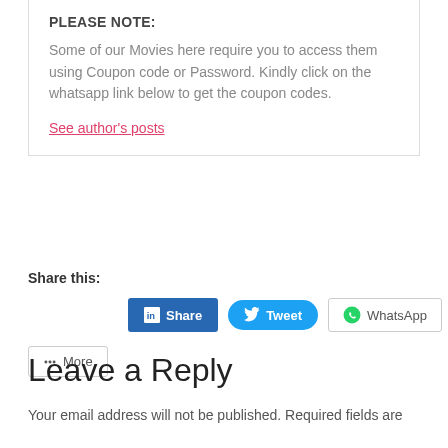PLEASE NOTE:
Some of our Movies here require you to access them using Coupon code or Password. Kindly click on the whatsapp link below to get the coupon codes.
See author's posts
Share this:
[Figure (other): Social share buttons: LinkedIn Share, Tweet, WhatsApp, More]
Leave a Reply
Your email address will not be published. Required fields are